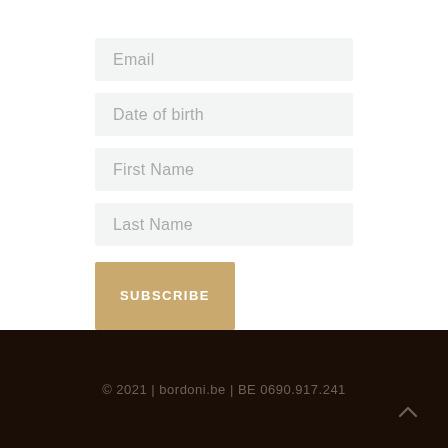Email
Date of birth
First Name
Last Name
SUBSCRIBE
© 2021 | bordoni.be | BE 0690.917.241